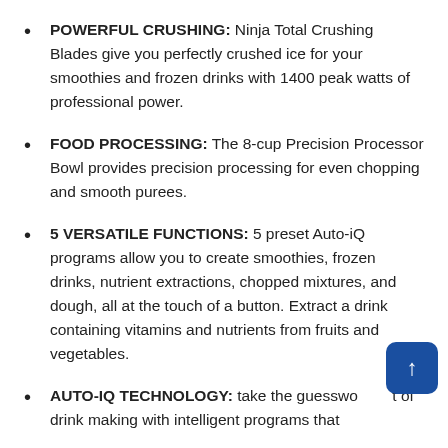POWERFUL CRUSHING: Ninja Total Crushing Blades give you perfectly crushed ice for your smoothies and frozen drinks with 1400 peak watts of professional power.
FOOD PROCESSING: The 8-cup Precision Processor Bowl provides precision processing for even chopping and smooth purees.
5 VERSATILE FUNCTIONS: 5 preset Auto-iQ programs allow you to create smoothies, frozen drinks, nutrient extractions, chopped mixtures, and dough, all at the touch of a button. Extract a drink containing vitamins and nutrients from fruits and vegetables.
AUTO-IQ TECHNOLOGY: take the guesswork out of drink making with intelligent programs that...